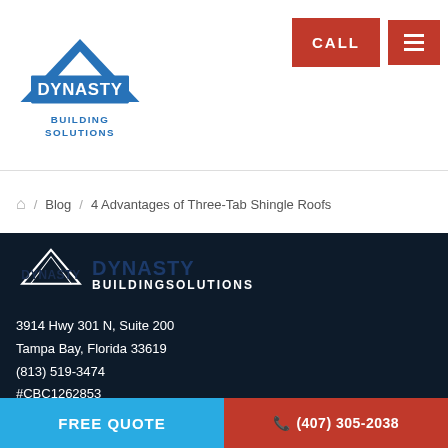[Figure (logo): Dynasty Building Solutions logo — blue triangle with DYNASTY in white, BUILDINGSOLUTIONS in blue below]
[Figure (other): Red CALL button and red hamburger menu button]
Home / Blog / 4 Advantages of Three-Tab Shingle Roofs
[Figure (logo): Dynasty Building Solutions dark logo on dark navy background]
3914 Hwy 301 N, Suite 200
Tampa Bay, Florida 33619
(813) 519-3474
#CBC1262853
[Figure (infographic): BuildZoom Top 5 badge on light blue background]
FREE QUOTE
(407) 305-2038